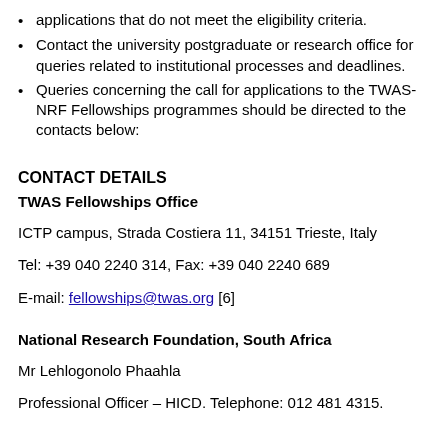applications that do not meet the eligibility criteria.
Contact the university postgraduate or research office for queries related to institutional processes and deadlines.
Queries concerning the call for applications to the TWAS-NRF Fellowships programmes should be directed to the contacts below:
CONTACT DETAILS
TWAS Fellowships Office
ICTP campus, Strada Costiera 11, 34151 Trieste, Italy
Tel: +39 040 2240 314, Fax: +39 040 2240 689
E-mail: fellowships@twas.org [6]
National Research Foundation, South Africa
Mr Lehlogonolo Phaahla
Professional Officer – HICD. Telephone: 012 481 4315.